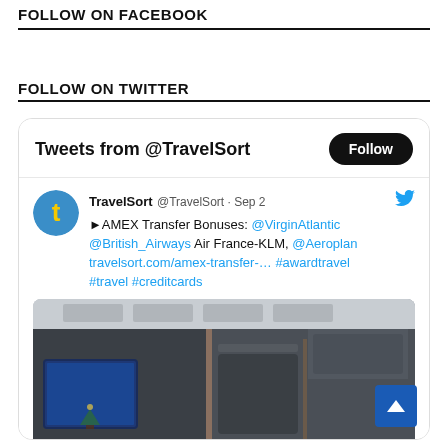FOLLOW ON FACEBOOK
FOLLOW ON TWITTER
[Figure (screenshot): Twitter widget showing Tweets from @TravelSort with a Follow button, a tweet by TravelSort dated Sep 2 about AMEX Transfer Bonuses mentioning @VirginAtlantic @British_Airways Air France-KLM @Aeroplan with hashtags #awardtravel #travel #creditcards, and an airplane cabin photo.]